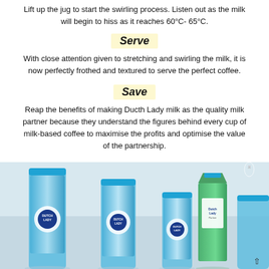Lift up the jug to start the swirling process. Listen out as the milk will begin to hiss as it reaches 60°C- 65°C.
Serve
With close attention given to stretching and swirling the milk, it is now perfectly frothed and textured to serve the perfect coffee.
Save
Reap the benefits of making Ducth Lady milk as the quality milk partner because they understand the figures behind every cup of milk-based coffee to maximise the profits and optimise the value of the partnership.
[Figure (photo): Photo of Dutch Lady branded cups, bottles and a milk carton arranged on a surface with a grey/beige background.]